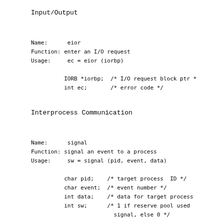Input/Output
Name:      eior
Function: enter an I/O request
Usage:     ec = eior (iorbp)

          IORB *iorbp;  /* I/O request block ptr */
          int ec;       /* error code */
Interprocess Communication
Name:      signal
Function: signal an event to a process
Usage:     sw = signal (pid, event, data)

          char pid;    /* target process  ID */
          char event;  /* event number */
          int data;    /* data for target process */
          int sw;      /* 1 if reserve pool used
                         signal, else 0 */